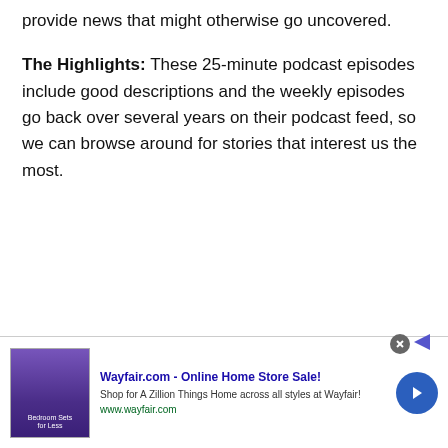provide news that might otherwise go uncovered.
The Highlights: These 25-minute podcast episodes include good descriptions and the weekly episodes go back over several years on their podcast feed, so we can browse around for stories that interest us the most.
[Figure (other): Wayfair.com advertisement banner showing bedroom furniture image, ad title 'Wayfair.com - Online Home Store Sale!', description 'Shop for A Zillion Things Home across all styles at Wayfair!', URL www.wayfair.com, with a blue circular arrow button and a close (X) button.]